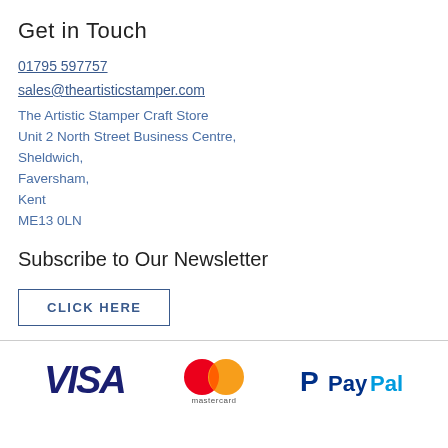Get in Touch
01795 597757
sales@theartisticstamper.com
The Artistic Stamper Craft Store
Unit 2 North Street Business Centre,
Sheldwich,
Faversham,
Kent
ME13 0LN
Subscribe to Our Newsletter
CLICK HERE
[Figure (logo): VISA logo (dark blue italic bold text)]
[Figure (logo): Mastercard logo (overlapping red and orange circles with 'mastercard' text below)]
[Figure (logo): PayPal logo (P symbol and PayPal text in blue)]